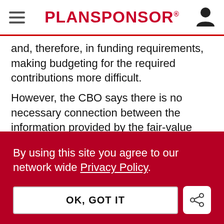PLANSPONSOR
and, therefore, in funding requirements, making budgeting for the required contributions more difficult.
However, the CBO says there is no necessary connection between the information provided by the fair-value approach and the determination of a sponsor's annual contributions to the plan
By using this site you agree to our network wide Privacy Policy.
OK, GOT IT